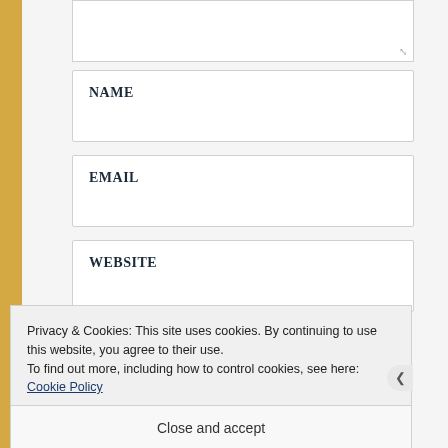NAME
EMAIL
WEBSITE
Privacy & Cookies: This site uses cookies. By continuing to use this website, you agree to their use.
To find out more, including how to control cookies, see here: Cookie Policy
Close and accept